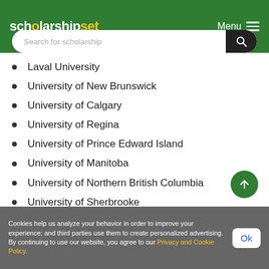[Figure (logo): scholarshipset logo in white and yellow on green background with Menu hamburger icon on right]
Laval University
University of New Brunswick
University of Calgary
University of Regina
University of Prince Edward Island
University of Manitoba
University of Northern British Columbia
University of Sherbrooke
University of Alberta
Vancouver Island University
Cookies help us analyze your behavior in order to improve your experience; and third parties use them to create personalized advertising. By continuing to use our website, you agree to our Privacy and Cookie Policy.